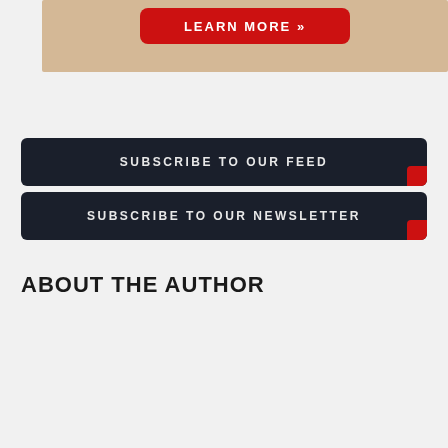[Figure (screenshot): Top portion of a webpage showing a red 'LEARN MORE' button on a tan/beige background]
[Figure (screenshot): Dark navy button with text 'SUBSCRIBE TO OUR FEED' and a red corner accent]
[Figure (screenshot): Dark navy button with text 'SUBSCRIBE TO OUR NEWSLETTER' and a red corner accent]
ABOUT THE AUTHOR
[Figure (screenshot): White author bio box with a scroll-to-top arrow button in the bottom right corner]